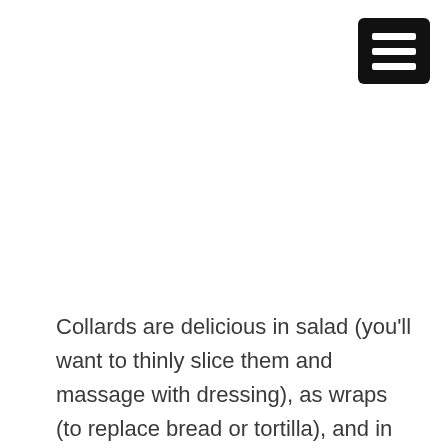[Figure (other): Hamburger menu icon — black rounded rectangle with three white horizontal bars]
Collards are delicious in salad (you'll want to thinly slice them and massage with dressing), as wraps (to replace bread or tortilla), and in soups. There are so many ways to prepare collard greens, but this classic simmer is my favorite.